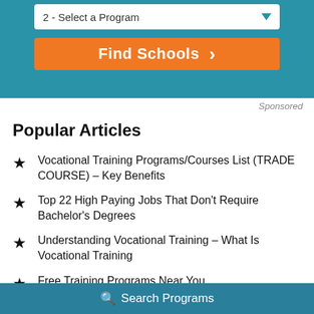[Figure (screenshot): Teal UI widget with dropdown showing '2 - Select a Program' and an orange 'Find Schools' button with right chevron]
Sponsored
Popular Articles
Vocational Training Programs/Courses List (TRADE COURSE) – Key Benefits
Top 22 High Paying Jobs That Don't Require Bachelor's Degrees
Understanding Vocational Training – What Is Vocational Training
Free Training Programs Near You
Search Programs